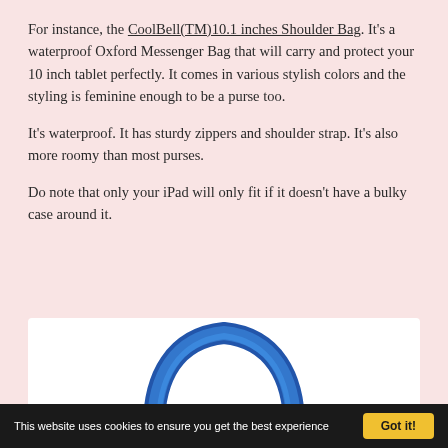For instance, the CoolBell(TM)10.1 inches Shoulder Bag. It's a waterproof Oxford Messenger Bag that will carry and protect your 10 inch tablet perfectly. It comes in various stylish colors and the styling is feminine enough to be a purse too.
It's waterproof. It has sturdy zippers and shoulder strap. It's also more roomy than most purses.
Do note that only your iPad will only fit if it doesn't have a bulky case around it.
[Figure (photo): Photo of a blue shoulder/messenger bag handle visible against white background]
This website uses cookies to ensure you get the best experience